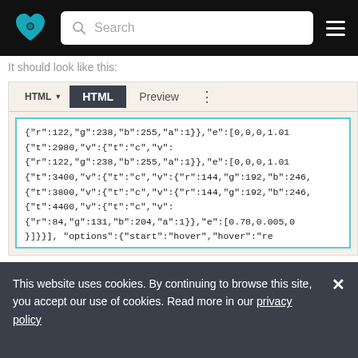[Figure (screenshot): Website navigation bar with logo, search box, and hamburger menu on dark background]
It should look like this:
[Figure (screenshot): Code editor panel showing HTML tab active with JSON-like code content including color values r:122, g:238, b:255 and other numeric values]
This website uses cookies. By continuing to browse this site, you accept our use of cookies. Read more in our privacy policy